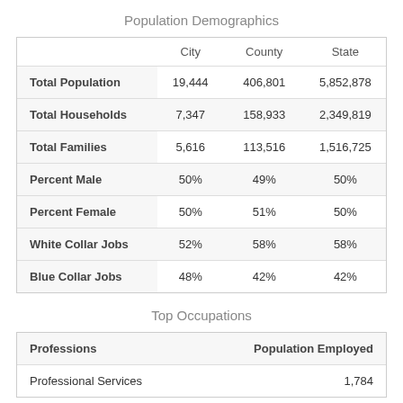Population Demographics
|  | City | County | State |
| --- | --- | --- | --- |
| Total Population | 19,444 | 406,801 | 5,852,878 |
| Total Households | 7,347 | 158,933 | 2,349,819 |
| Total Families | 5,616 | 113,516 | 1,516,725 |
| Percent Male | 50% | 49% | 50% |
| Percent Female | 50% | 51% | 50% |
| White Collar Jobs | 52% | 58% | 58% |
| Blue Collar Jobs | 48% | 42% | 42% |
Top Occupations
| Professions | Population Employed |
| --- | --- |
| Professional Services | 1,784 |